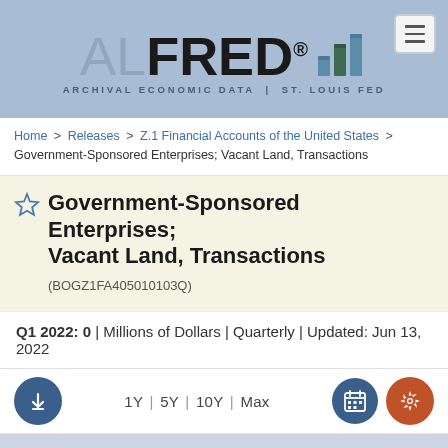[Figure (logo): ALFRED Archival Economic Data | St. Louis Fed logo with bar chart icon and hamburger menu button]
Home > Releases > Z.1 Financial Accounts of the United States > Government-Sponsored Enterprises; Vacant Land, Transactions
Government-Sponsored Enterprises; Vacant Land, Transactions (BOGZ1FA405010103Q)
Q1 2022: 0 | Millions of Dollars | Quarterly | Updated: Jun 13, 2022
[Figure (screenshot): Toolbar with download button, time range selectors (1Y | 5Y | 10Y | Max), calendar icon, and settings gear icon]